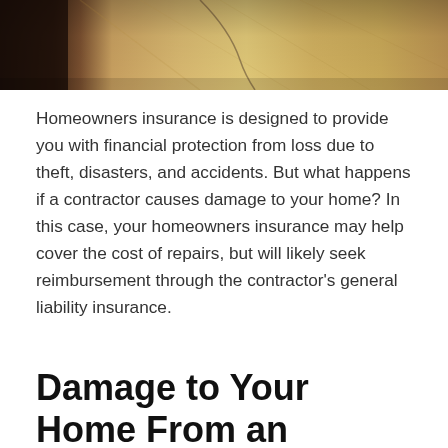[Figure (photo): Partial view of a room interior with wooden floor and furniture, showing bottom portion of a photo cropped at top of page]
Homeowners insurance is designed to provide you with financial protection from loss due to theft, disasters, and accidents. But what happens if a contractor causes damage to your home? In this case, your homeowners insurance may help cover the cost of repairs, but will likely seek reimbursement through the contractor's general liability insurance.
Damage to Your Home From an Accident Caused by a Contractor